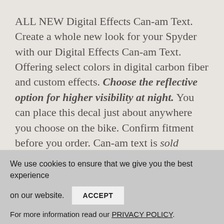ALL NEW Digital Effects Can-am Text. Create a whole new look for your Spyder with our Digital Effects Can-am Text. Offering select colors in digital carbon fiber and custom effects. Choose the reflective option for higher visibility at night. You can place this decal just about anywhere you choose on the bike. Confirm fitment before you order. Can-am text is sold individually and is approx 2.25"x14.75". This is not the OE logo text but a font that is very close. Contact us with any questions. This page is for Can-am text only
We use cookies to ensure that we give you the best experience on our website.
ACCEPT
For more information read our PRIVACY POLICY.